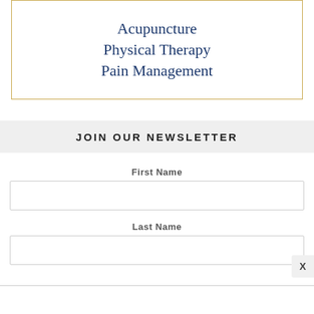Acupuncture
Physical Therapy
Pain Management
JOIN OUR NEWSLETTER
First Name
Last Name